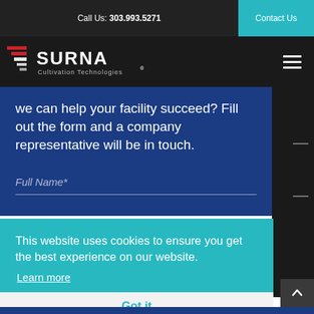Call Us: 303.993.5271 | Contact Us
[Figure (logo): Surna Cultivation Technologies logo with red and white horizontal lines icon and white text]
we can help your facility succeed? Fill out the form and a company representative will be in touch.
Full Name*
This website uses cookies to ensure you get the best experience on our website.
Learn more
Got it